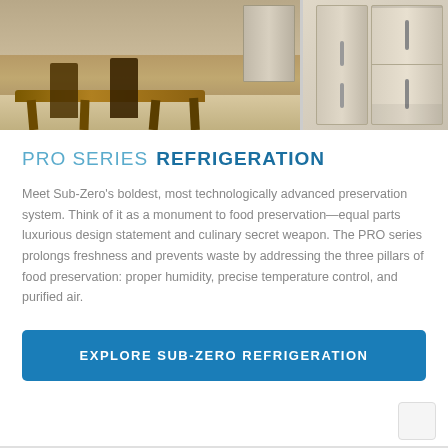[Figure (photo): Two photos side by side: left shows a kitchen interior with a wooden dining table and chairs; right shows a stainless steel Sub-Zero refrigerator unit with multiple doors]
PRO SERIES REFRIGERATION
Meet Sub-Zero's boldest, most technologically advanced preservation system. Think of it as a monument to food preservation—equal parts luxurious design statement and culinary secret weapon. The PRO series prolongs freshness and prevents waste by addressing the three pillars of food preservation: proper humidity, precise temperature control, and purified air.
EXPLORE SUB-ZERO REFRIGERATION